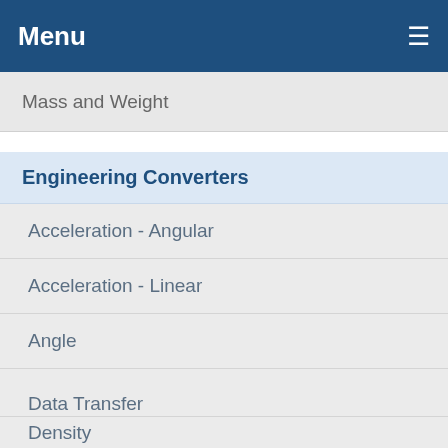Menu
Mass and Weight
Engineering Converters
Acceleration - Angular
Acceleration - Linear
Angle
Data Storage
Data Transfer
Density